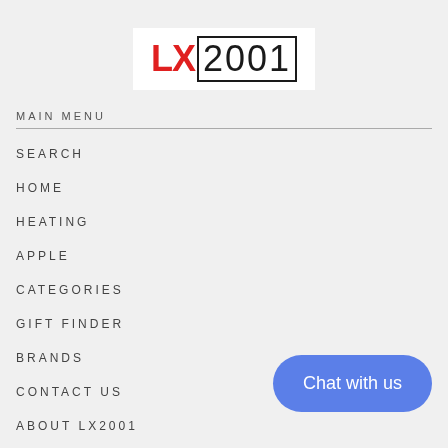[Figure (logo): LX2001 logo with red LX and outlined 2001 text]
MAIN MENU
SEARCH
HOME
HEATING
APPLE
CATEGORIES
GIFT FINDER
BRANDS
CONTACT US
ABOUT LX2001
Chat with us